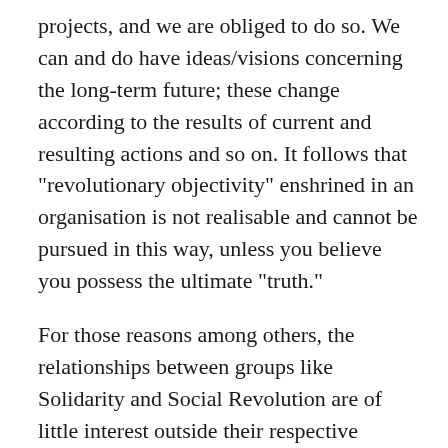projects, and we are obliged to do so. We can and do have ideas/visions concerning the long-term future; these change according to the results of current and resulting actions and so on. It follows that "revolutionary objectivity" enshrined in an organisation is not realisable and cannot be pursued in this way, unless you believe you possess the ultimate "truth."
For those reasons among others, the relationships between groups like Solidarity and Social Revolution are of little interest outside their respective memberships and a few others. Most people vote with their feet. Like me they also act and think ambiguously, incoherently, consciously, unconsciously, etc. There are moments when all this seemingly contradictory behaviour merges into a movement with profound revolutionary consequences. This movement also